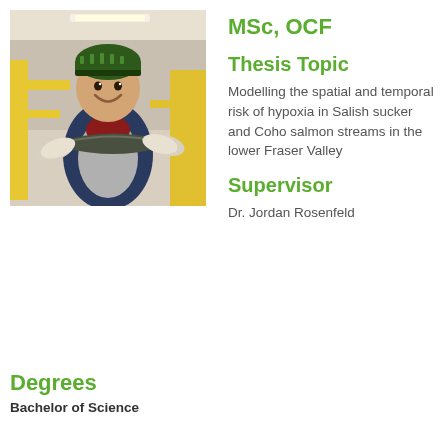[Figure (photo): A smiling person wearing a beanie and holding a fish or eel with white gloves, standing in what appears to be a lab or industrial setting with yellow equipment in the background.]
MSc, OCF
Thesis Topic
Modelling the spatial and temporal risk of hypoxia in Salish sucker and Coho salmon streams in the lower Fraser Valley
Supervisor
Dr. Jordan Rosenfeld
Degrees
Bachelor of Science